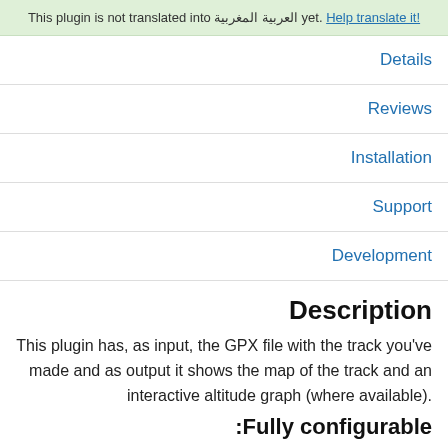This plugin is not translated into العربية المغربية yet. Help translate it!
Details
Reviews
Installation
Support
Development
Description
This plugin has, as input, the GPX file with the track you've made and as output it shows the map of the track and an interactive altitude graph (where available).
:Fully configurable